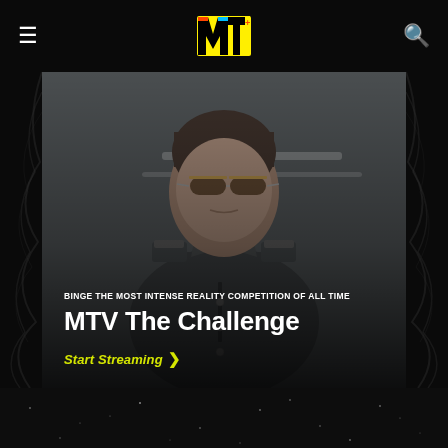MTV
[Figure (photo): MTV website screenshot showing a man in a grey coat and aviator sunglasses standing outdoors, promoting MTV The Challenge streaming]
BINGE THE MOST INTENSE REALITY COMPETITION OF ALL TIME
MTV The Challenge
Start Streaming >